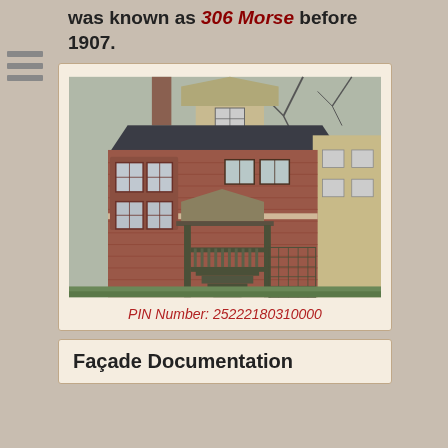was known as 306 Morse before 1907.
[Figure (photo): Photograph of a red brick Victorian-era house with a dormer window on the top gable, bay windows, a front porch with wooden stairs and lattice work, and a neighboring building visible on the right.]
PIN Number: 25222180310000
Façade Documentation